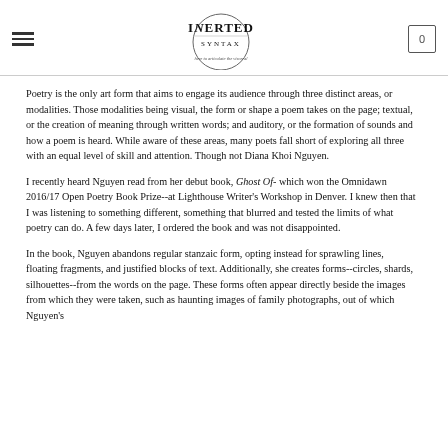Inverted Syntax — here to articulate the visceral
Poetry is the only art form that aims to engage its audience through three distinct areas, or modalities. Those modalities being visual, the form or shape a poem takes on the page; textual, or the creation of meaning through written words; and auditory, or the formation of sounds and how a poem is heard. While aware of these areas, many poets fall short of exploring all three with an equal level of skill and attention. Though not Diana Khoi Nguyen.
I recently heard Nguyen read from her debut book, Ghost Of- which won the Omnidawn 2016/17 Open Poetry Book Prize--at Lighthouse Writer's Workshop in Denver. I knew then that I was listening to something different, something that blurred and tested the limits of what poetry can do. A few days later, I ordered the book and was not disappointed.
In the book, Nguyen abandons regular stanzaic form, opting instead for sprawling lines, floating fragments, and justified blocks of text. Additionally, she creates forms--circles, shards, silhouettes--from the words on the page. These forms often appear directly beside the images from which they were taken, such as haunting images of family photographs, out of which Nguyen's